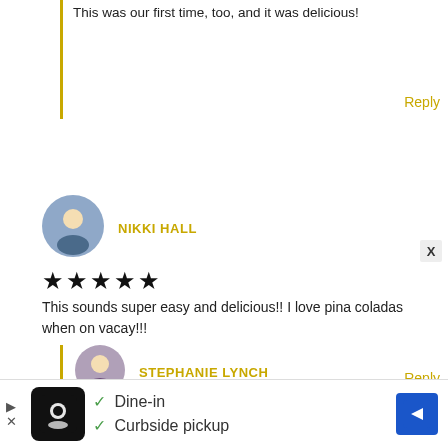This was our first time, too, and it was delicious!
Reply
NIKKI HALL
★★★★★
This sounds super easy and delicious!! I love pina coladas when on vacay!!!
Reply
STEPHANIE LYNCH
A pina colada or strawberry daiquiri are my two favorites!
[Figure (screenshot): Ad bar at bottom: Dine-in and Curbside pickup with restaurant icon and navigation arrow]